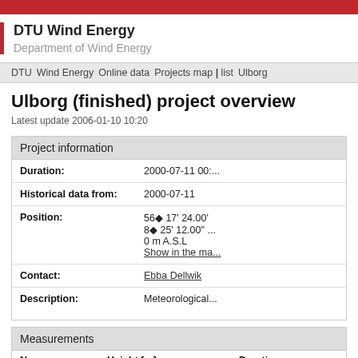DTU Wind Energy | Department of Wind Energy
DTU | Wind Energy | Online data | Projects map | list | Ulborg
Ulborg (finished) project overview
Latest update 2006-01-10 10:20
| Field | Value |
| --- | --- |
| Duration: | 2000-07-11 00:... |
| Historical data from: | 2000-07-11 |
| Position: | 56◆ 17' 24.00'
8◆ 25' 12.00' ...
0 m A.S.L
Show in the ma... |
| Contact: | Ebba Dellwik |
| Description: | Meteorological... |
Measurements
| Name | Height [m] | Duration |
| --- | --- | --- |